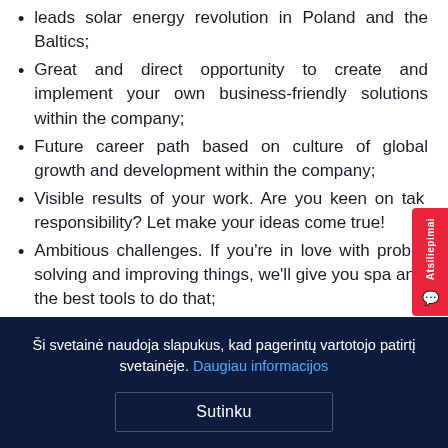leads solar energy revolution in Poland and the Baltics;
Great and direct opportunity to create and implement your own business-friendly solutions within the company;
Future career path based on culture of global growth and development within the company;
Visible results of your work. Are you keen on taking responsibility? Let make your ideas come true!
Ambitious challenges. If you're in love with problem solving and improving things, we'll give you space and the best tools to do that;
Open communication, transparency, and teamwork. You will get frequent and honest feedback;
Ši svetainė naudoja slapukus, kad pagerintų vartotojo patirtį svetainėje. Daugiau informacijos
Sutinku